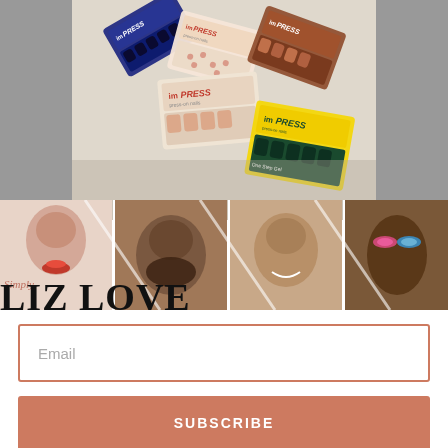[Figure (photo): Photo of multiple imPRESS nail product packages scattered on a white surface, viewed from above. Gray sidebar areas on left and right. Center shows packages with nail designs in blue, pink, neutral, and dark green colors.]
[Figure (photo): Blog banner for 'Simply LIZ LOVE' showing a collage of four cropped portrait photos: woman with red lips, man with beard, woman smiling, woman with colorful eye makeup. Overlaid with the blog title text 'Simply LIZ LOVE' in large bold serif font with 'Simply' in cursive coral color.]
Email
SUBSCRIBE